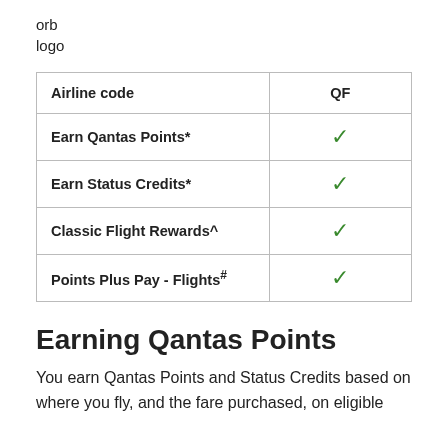orb
logo
| Airline code | QF |
| --- | --- |
| Earn Qantas Points* | ✓ |
| Earn Status Credits* | ✓ |
| Classic Flight Rewards^ | ✓ |
| Points Plus Pay - Flights# | ✓ |
Earning Qantas Points
You earn Qantas Points and Status Credits based on where you fly, and the fare purchased, on eligible